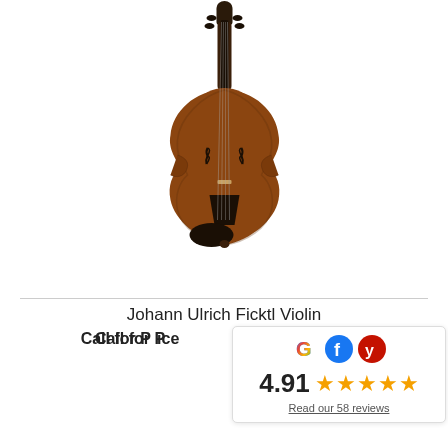[Figure (photo): Front view of a Johann Ulrich Ficktl violin with brown/amber finish, visible f-holes, chin rest, and scroll pegbox at top]
Johann Ulrich Ficktl Violin
Call for Price
[Figure (infographic): Review widget showing Google, Facebook, and Yelp logos, rating of 4.91 with 5 gold stars, and link to Read our 58 reviews]